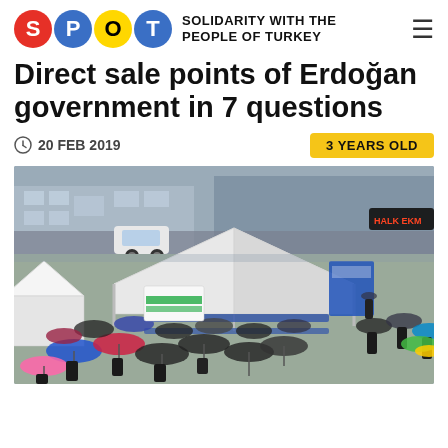[Figure (logo): SPOT - Solidarity with the People of Turkey logo with colored letter circles and text]
Direct sale points of Erdoğan government in 7 questions
20 FEB 2019
3 YEARS OLD
[Figure (photo): Aerial view of people queuing in rainy weather under umbrellas at a white tent market stall, with blue barriers, parked cars and buildings in the background. A sign reads HALK EKMEK visible in the upper right.]